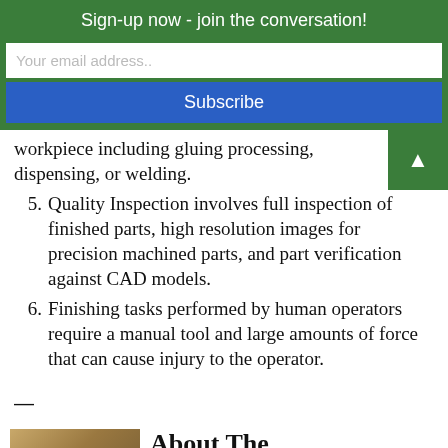Sign-up now - join the conversation!
Your email address..
Subscribe
workpiece including gluing processing, dispensing, or welding.
5. Quality Inspection involves full inspection of finished parts, high resolution images for precision machined parts, and part verification against CAD models.
6. Finishing tasks performed by human operators require a manual tool and large amounts of force that can cause injury to the operator.
—
About The